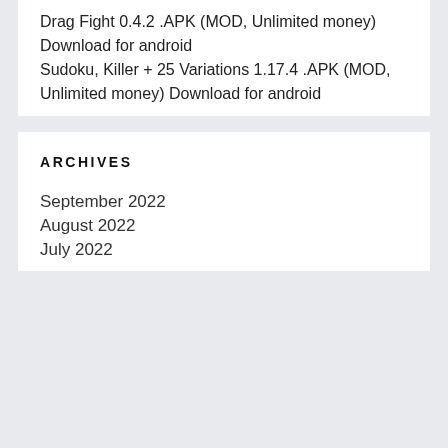Drag Fight 0.4.2 .APK (MOD, Unlimited money) Download for android
Sudoku, Killer + 25 Variations 1.17.4 .APK (MOD, Unlimited money) Download for android
ARCHIVES
September 2022
August 2022
July 2022